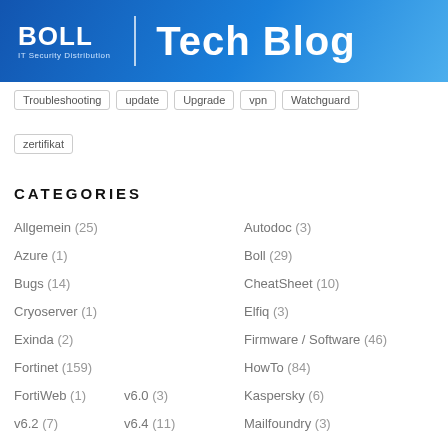BOLL IT Security Distribution — Tech Blog
Troubleshooting
update
Upgrade
vpn
Watchguard
zertifikat
CATEGORIES
Allgemein (25)
Autodoc (3)
Azure (1)
Boll (29)
Bugs (14)
CheatSheet (10)
Cryoserver (1)
Elfiq (3)
Exinda (2)
Firmware / Software (46)
Fortinet (159)
HowTo (84)
FortiWeb (1)
v6.0 (3)
Kaspersky (6)
v6.2 (7)
v6.4 (11)
Mailfoundry (3)